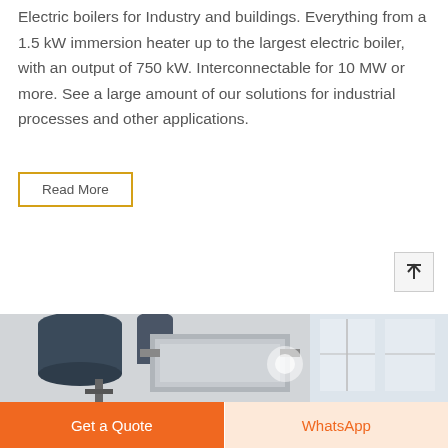Electric boilers for Industry and buildings. Everything from a 1.5 kW immersion heater up to the largest electric boiler, with an output of 750 kW. Interconnectable for 10 MW or more. See a large amount of our solutions for industrial processes and other applications.
Read More
[Figure (screenshot): A scroll-to-top button with an upward arrow icon]
[Figure (photo): Industrial boiler equipment installed in a building, showing pipes and machinery near a window]
Get a Quote
WhatsApp